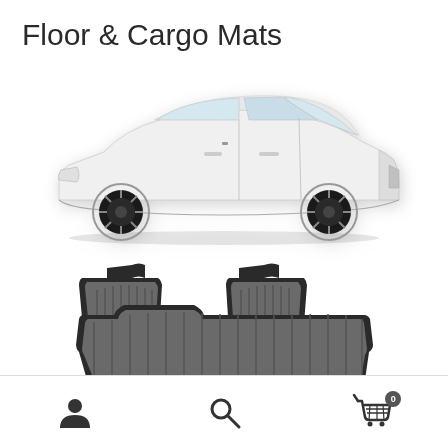Floor & Cargo Mats
[Figure (photo): White Tesla Model S sedan shown from the side profile on a white background]
[Figure (photo): Set of black rubber floor mats for Tesla: two front mats and one rear mat, shown on white background]
Navigation bar with user account icon, search icon, and shopping cart icon with badge showing 0